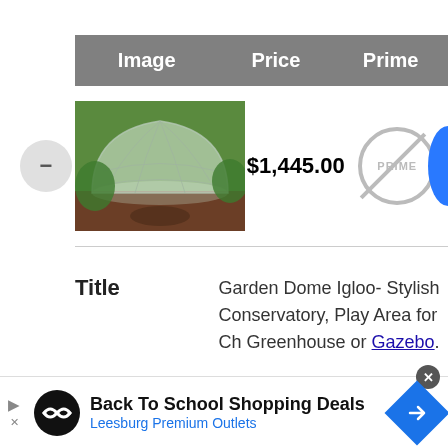| Image | Price | Prime |
| --- | --- | --- |
| [garden dome igloo image] | $1,445.00 | [PRIME not available] |
| Title | Garden Dome Igloo- Stylish Conservatory, Play Area for Ch Greenhouse or Gazebo. |  |
[Figure (infographic): Advertisement banner: Back To School Shopping Deals - Leesburg Premium Outlets]